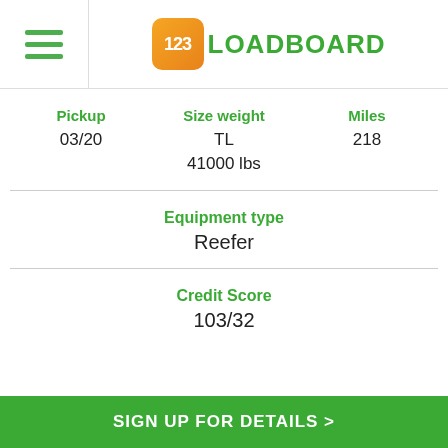[Figure (logo): 123Loadboard logo with orange square containing '123' and green text 'LOADBOARD']
Pickup
03/20
Size weight
TL
41000 lbs
Miles
218
Equipment type
Reefer
Credit Score
103/32
SIGN UP FOR DETAILS >